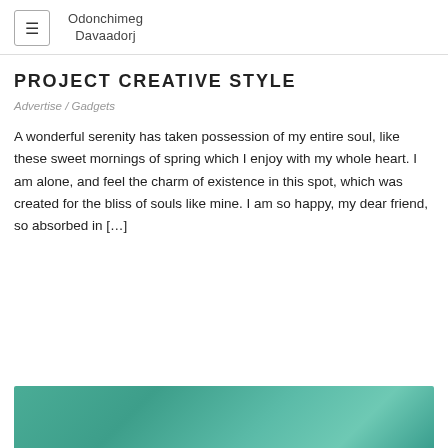☰  Odonchimeg Davaadorj
PROJECT CREATIVE STYLE
Advertise / Gadgets
A wonderful serenity has taken possession of my entire soul, like these sweet mornings of spring which I enjoy with my whole heart. I am alone, and feel the charm of existence in this spot, which was created for the bliss of souls like mine. I am so happy, my dear friend, so absorbed in […]
[Figure (photo): Teal/green textured surface, partially visible at the bottom of the page]